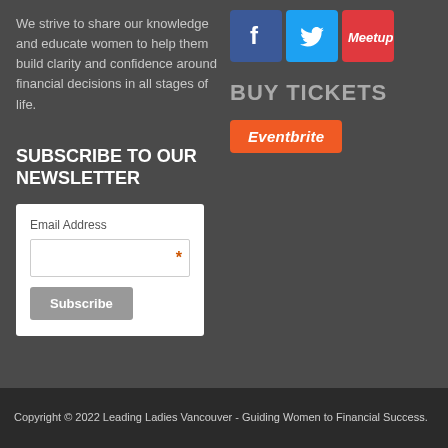We strive to share our knowledge and educate women to help them build clarity and confidence around financial decisions in all stages of life.
[Figure (logo): Social media icons: Facebook (blue), Twitter (light blue), Meetup (red)]
BUY TICKETS
[Figure (logo): Eventbrite orange button/logo]
SUBSCRIBE TO OUR NEWSLETTER
Email Address [input field with asterisk] Subscribe button
Copyright © 2022 Leading Ladies Vancouver - Guiding Women to Financial Success.